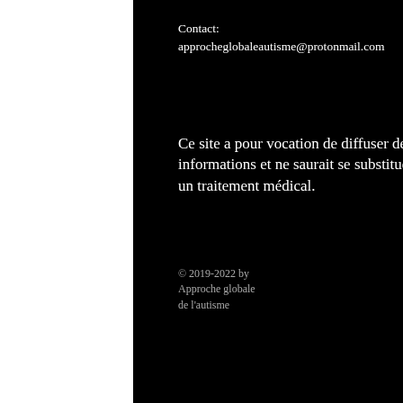Contact:
approcheglobaleautisme@protonmail.com
Ce site a pour vocation de diffuser des informations et ne saurait se substituer à un traitement médical.
© 2019-2022 by Approche globale de l'autisme